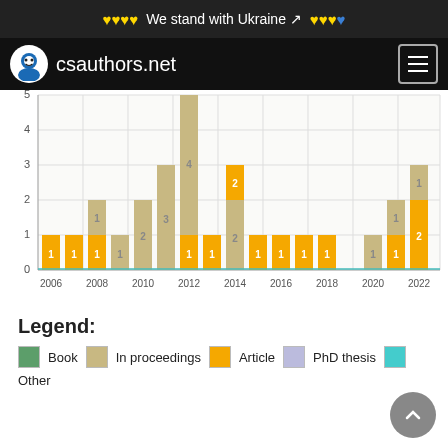We stand with Ukraine
[Figure (bar-chart): Publications per year]
Legend:
Book  In proceedings  Article  PhD thesis  Other